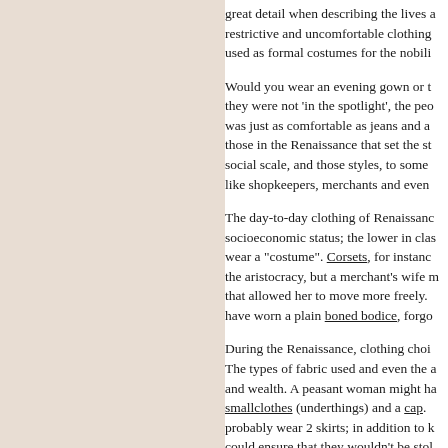great detail when describing the lives a restrictive and uncomfortable clothing used as formal costumes for the nobili
Would you wear an evening gown or t they were not 'in the spotlight', the peo was just as comfortable as jeans and a those in the Renaissance that set the st social scale, and those styles, to some like shopkeepers, merchants and even
The day-to-day clothing of Renaissance socioeconomic status; the lower in cla wear a "costume". Corsets, for instanc the aristocracy, but a merchant's wife m that allowed her to move more freely. have worn a plain boned bodice, forgo
During the Renaissance, clothing choi The types of fabric used and even the and wealth. A peasant woman might ha smallclothes (underthings) and a cap. probably wear 2 skirts; in addition to k could ensure that they wouldn't be sto
A noblewoman, by contrast, would lik farthingale, a chemise, a corset, a bum snood, or a hat or a hood. The clothing wealth and sophistication, and even th